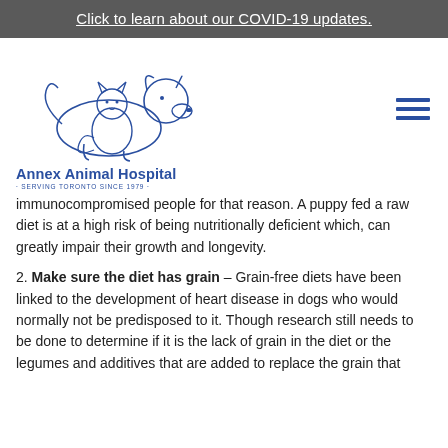Click to learn about our COVID-19 updates.
[Figure (logo): Annex Animal Hospital logo — line drawing of a dog and cat together, with text 'Annex Animal Hospital' and tagline '· SERVING TORONTO SINCE 1979 ·']
immunocompromised people for that reason. A puppy fed a raw diet is at a high risk of being nutritionally deficient which, can greatly impair their growth and longevity.
2. Make sure the diet has grain – Grain-free diets have been linked to the development of heart disease in dogs who would normally not be predisposed to it. Though research still needs to be done to determine if it is the lack of grain in the diet or the legumes and additives that are added to replace the grain that